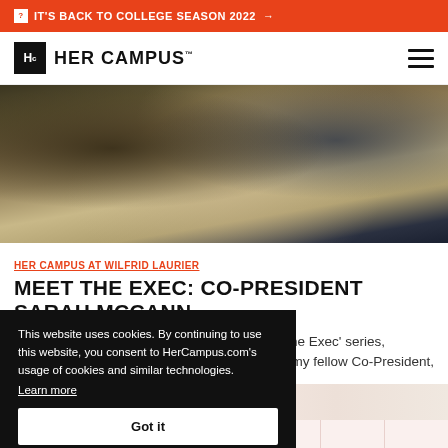IT'S BACK TO COLLEGE SEASON 2022 →
[Figure (logo): Her Campus logo with Hc box icon and wordmark]
[Figure (photo): Outdoor photo showing people in a field with blurred foreground vegetation]
HER CAMPUS AT WILFRID LAURIER
MEET THE EXEC: CO-PRESIDENT SARAH MCCANN
It's the sixth and final installment of our 'Meet the Exec' series, ...iling my fellow Co-President,
This website uses cookies. By continuing to use this website, you consent to HerCampus.com's usage of cookies and similar technologies. Learn more Got it
[Figure (photo): Partial bottom image strip with colorful circular element visible]